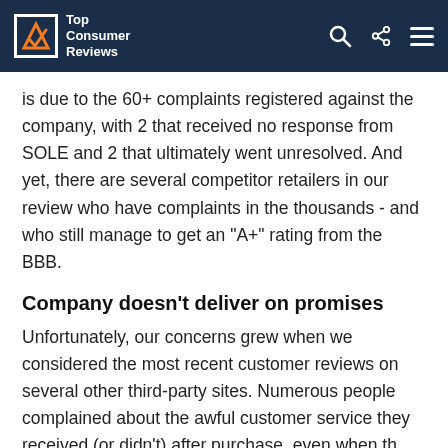Top Consumer Reviews
is due to the 60+ complaints registered against the company, with 2 that received no response from SOLE and 2 that ultimately went unresolved. And yet, there are several competitor retailers in our review who have complaints in the thousands - and who still manage to get an "A+" rating from the BBB.
Company doesn't deliver on promises
Unfortunately, our concerns grew when we considered the most recent customer reviews on several other third-party sites. Numerous people complained about the awful customer service they received (or didn't) after purchase, even when the treadmills should have been covered under warranty. When you see multiple comments that